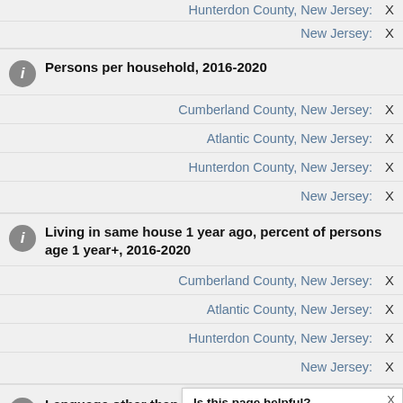Hunterdon County, New Jersey: X
New Jersey: X
Persons per household, 2016-2020
Cumberland County, New Jersey: X
Atlantic County, New Jersey: X
Hunterdon County, New Jersey: X
New Jersey: X
Living in same house 1 year ago, percent of persons age 1 year+, 2016-2020
Cumberland County, New Jersey: X
Atlantic County, New Jersey: X
Hunterdon County, New Jersey: X
New Jersey: X
Language other than English percent of persons age 5 year
Is this page helpful? Yes No